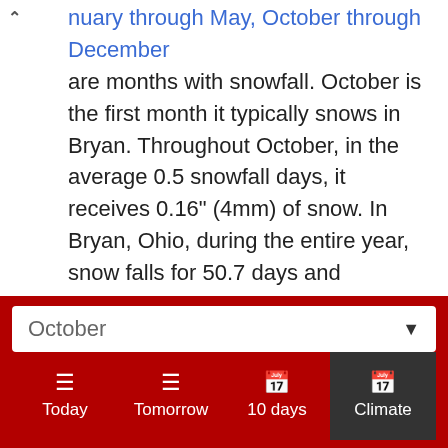January through May, October through December are months with snowfall. October is the first month it typically snows in Bryan. Throughout October, in the average 0.5 snowfall days, it receives 0.16" (4mm) of snow. In Bryan, Ohio, during the entire year, snow falls for 50.7 days and aggregates up to 14.09" (358mm) of snow.
Daylight
In October, the average length of the day in Bryan is 11h and 5min.
October
Today | Tomorrow | 10 days | Climate